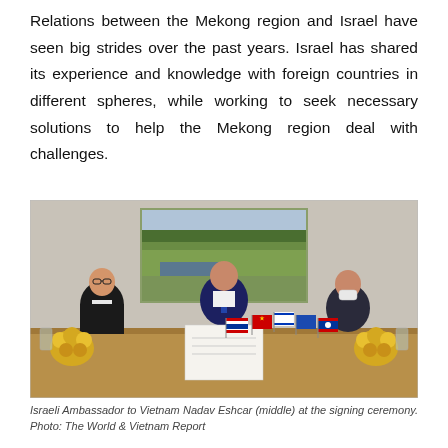Relations between the Mekong region and Israel have seen big strides over the past years. Israel has shared its experience and knowledge with foreign countries in different spheres, while working to seek necessary solutions to help the Mekong region deal with challenges.
[Figure (photo): Three people seated at a conference table with small national flags (Thailand, Vietnam, Israel, Laos, and others) in front of them. The man in the center (wearing a dark suit and blue tie) is signing a document. Two women flank him. A landscape painting hangs on the wall behind them. Yellow flowers are on the table.]
Israeli Ambassador to Vietnam Nadav Eshcar (middle) at the signing ceremony. Photo: The World & Vietnam Report